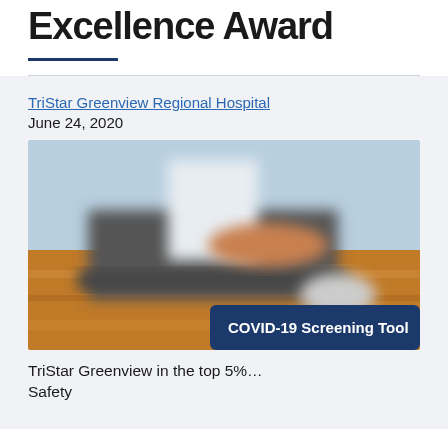Excellence Award
TriStar Greenview Regional Hospital
June 24, 2020
[Figure (photo): Blurred photo of a laptop or electronic device on a wooden surface with light blue background, with a COVID-19 Screening Tool button overlay]
TriStar Greenview in the top 5% ... Safety